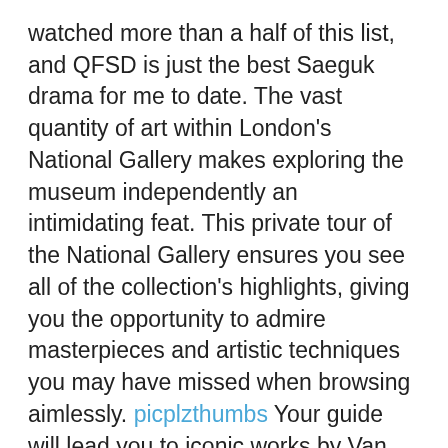watched more than a half of this list, and QFSD is just the best Saeguk drama for me to date. The vast quantity of art within London's National Gallery makes exploring the museum independently an intimidating feat. This private tour of the National Gallery ensures you see all of the collection's highlights, giving you the opportunity to admire masterpieces and artistic techniques you may have missed when browsing aimlessly. picplzthumbs Your guide will lead you to iconic works by Van Gogh, Botticelli, Monet and Rembrandt, while offering insight into the lives of the painters. Plus, receive undivided attention from your guide and customize the itinerary according to your preferences.
on the ball kid perfectly right top listing,all and i mean crap songs. Logotype design. If a company is